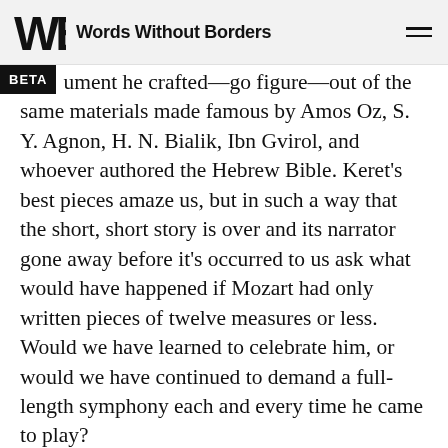Words Without Borders
ument he crafted—go figure—out of the same materials made famous by Amos Oz, S. Y. Agnon, H. N. Bialik, Ibn Gvirol, and whoever authored the Hebrew Bible. Keret's best pieces amaze us, but in such a way that the short, short story is over and its narrator gone away before it's occurred to us ask what would have happened if Mozart had only written pieces of twelve measures or less. Would we have learned to celebrate him, or would we have continued to demand a full-length symphony each and every time he came to play?
Todd Hasak-Lowy is an assistant professor of